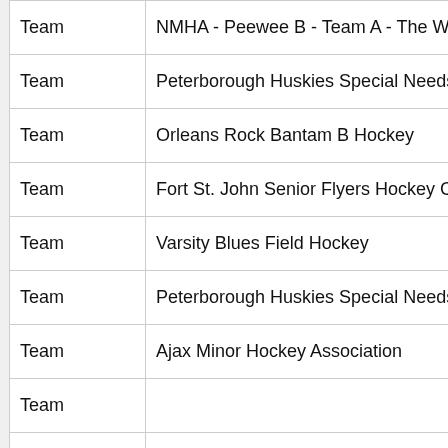| Type | Name |
| --- | --- |
| Team | NMHA - Peewee B - Team A - The Wolverines |
| Team | Peterborough Huskies Special Needs Hockey Tea |
| Team | Orleans Rock Bantam B Hockey |
| Team | Fort St. John Senior Flyers Hockey Club |
| Team | Varsity Blues Field Hockey |
| Team | Peterborough Huskies Special Needs Hockey Tea |
| Team | Ajax Minor Hockey Association |
| Team |  |
| Team | Club de sauvetage Rouville |
| Team | Waterloo Warriors Lifesaving Club |